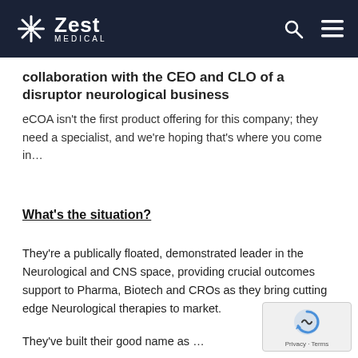Zest Medical
collaboration with the CEO and CLO of a disruptor neurological business
eCOA isn't the first product offering for this company; they need a specialist, and we're hoping that's where you come in…
What's the situation?
They're a publically floated, demonstrated leader in the Neurological and CNS space, providing crucial outcomes support to Pharma, Biotech and CROs as they bring cutting edge Neurological therapies to market.
They've built their good name as …